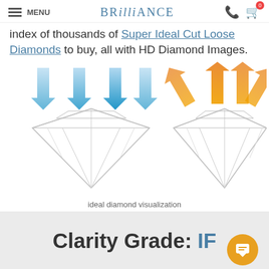MENU | BRILLIANCE
index of thousands of Super Ideal Cut Loose Diamonds to buy, all with HD Diamond Images.
[Figure (illustration): Two diamonds side by side. Left diamond has blue downward arrows showing light entering. Right diamond has orange upward arrows showing light reflecting out. Labeled 'ideal diamond visualization'.]
ideal diamond visualization
Clarity Grade: IF